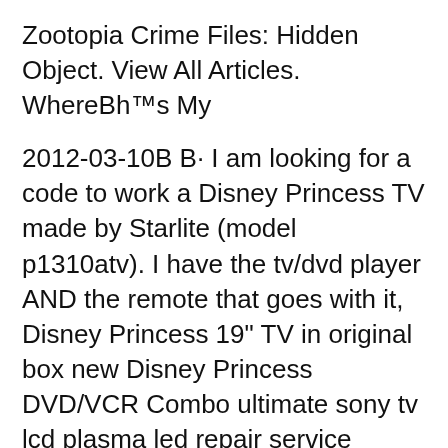Zootopia Crime Files: Hidden Object. View All Articles. WhereBh™s My
2012-03-10B B· I am looking for a code to work a Disney Princess TV made by Starlite (model p1310atv). I have the tv/dvd player AND the remote that goes with it, Disney Princess 19" TV in original box new Disney Princess DVD/VCR Combo ultimate sony tv lcd plasma led repair service manuals $15.95 Free Shipping
Find helpful customer reviews and review ratings for Disney Princess 13'' Combination TV & DVD Player at Amazon.com. Read honest and unbiased product reviews from our